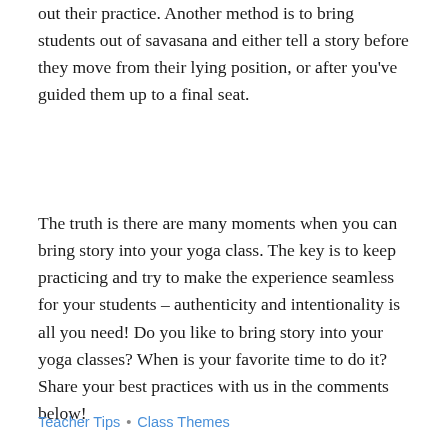out their practice. Another method is to bring students out of savasana and either tell a story before they move from their lying position, or after you've guided them up to a final seat.
The truth is there are many moments when you can bring story into your yoga class. The key is to keep practicing and try to make the experience seamless for your students – authenticity and intentionality is all you need! Do you like to bring story into your yoga classes? When is your favorite time to do it? Share your best practices with us in the comments below!
Teacher Tips • Class Themes